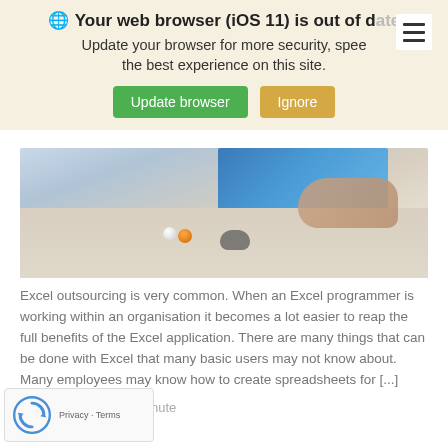Your web browser (iOS 11) is out of date
Update your browser for more security, speed and the best experience on this site.
Update browser | Ignore
[Figure (photo): Photo of a laptop computer on a desk with a hand on the trackpad, a black mouse, and small orange and white balls on the desk surface]
Excel outsourcing is very common. When an Excel programmer is working within an organisation it becomes a lot easier to reap the full benefits of the Excel application. There are many things that can be done with Excel that many basic users may not know about. Many employees may know how to create spreadsheets for [...]
Read time: 1 minute
[Figure (other): reCAPTCHA widget with Privacy and Terms links]